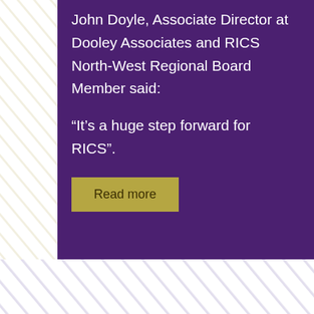[Figure (illustration): Diagonal stripe decoration on the top-left side of the page, light beige/gold colored diagonal lines on white background]
John Doyle, Associate Director at Dooley Associates and RICS North-West Regional Board Member said:
“It’s a huge step forward for RICS”.
Read more
[Figure (illustration): Diagonal stripe decoration at the bottom of the page, light lavender/purple colored diagonal lines on white background]